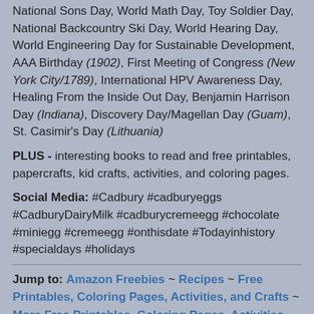National Sons Day, World Math Day, Toy Soldier Day, National Backcountry Ski Day, World Hearing Day, World Engineering Day for Sustainable Development, AAA Birthday (1902), First Meeting of Congress (New York City/1789), International HPV Awareness Day, Healing From the Inside Out Day, Benjamin Harrison Day (Indiana), Discovery Day/Magellan Day (Guam), St. Casimir's Day (Lithuania)
PLUS - interesting books to read and free printables, papercrafts, kid crafts, activities, and coloring pages.
Social Media: #Cadbury #cadburyeggs #CadburyDairyMilk #cadburycremeegg #chocolate #miniegg #cremeegg #onthisdate #Todayinhistory #specialdays #holidays
Jump to: Amazon Freebies ~ Recipes ~ Free Printables, Coloring Pages, Activities, and Crafts ~ More Free Printables, Coloring Pages, Activities, and Crafts ~ Index of Holiday Freebies
← March 3rd is... Alexander Graham Bell's Birthday